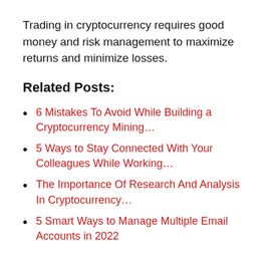Trading in cryptocurrency requires good money and risk management to maximize returns and minimize losses.
Related Posts:
6 Mistakes To Avoid While Building a Cryptocurrency Mining…
5 Ways to Stay Connected With Your Colleagues While Working…
The Importance Of Research And Analysis In Cryptocurrency…
5 Smart Ways to Manage Multiple Email Accounts in 2022